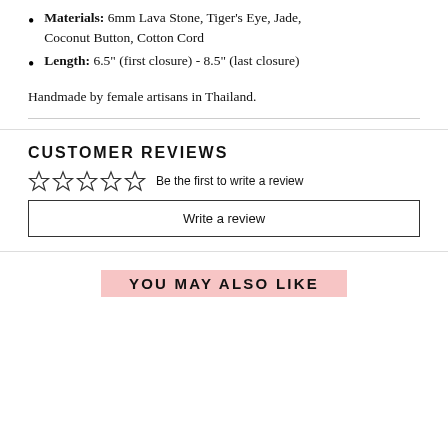Materials: 6mm Lava Stone, Tiger's Eye, Jade, Coconut Button, Cotton Cord
Length: 6.5" (first closure) - 8.5" (last closure)
Handmade by female artisans in Thailand.
CUSTOMER REVIEWS
Be the first to write a review
Write a review
YOU MAY ALSO LIKE